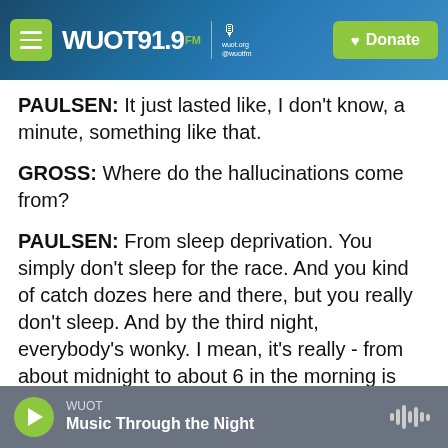WUOT 91.9 FM | wuot.org @wuotfm | Donate
PAULSEN: It just lasted like, I don't know, a minute, something like that.
GROSS: Where do the hallucinations come from?
PAULSEN: From sleep deprivation. You simply don't sleep for the race. And you kind of catch dozes here and there, but you really don't sleep. And by the third night, everybody's wonky. I mean, it's really - from about midnight to about 6 in the morning is just a fright. It's just incredible. That's the best time to run 'cause the dogs are - it's cooler, and they like to run at night. And so you run during that time, but
WUOT | Music Through the Night